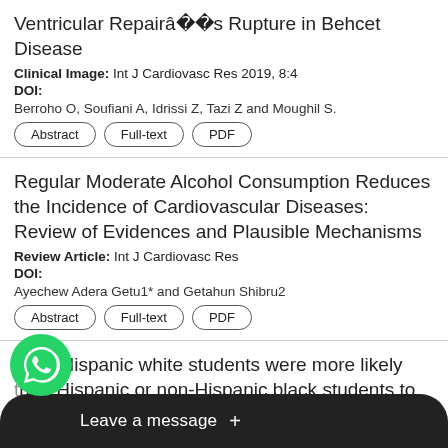Ventricular Repairâ€s Rupture in Behcet Disease
Clinical Image: Int J Cardiovasc Res 2019, 8:4
DOI:
Berroho O, Soufiani A, Idrissi Z, Tazi Z and Moughil S.
Abstract | Full-text | PDF
Regular Moderate Alcohol Consumption Reduces the Incidence of Cardiovascular Diseases: Review of Evidences and Plausible Mechanisms
Review Article: Int J Cardiovasc Res
DOI:
Ayechew Adera Getu1* and Getahun Shibru2
Abstract | Full-text | PDF
Non- Hispanic white students were more likely than Hispanic or non-Hispanic black students to report any current tobacco use
DOI: